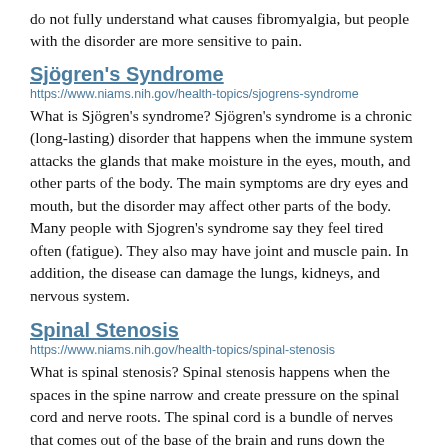do not fully understand what causes fibromyalgia, but people with the disorder are more sensitive to pain.
Sjögren's Syndrome
https://www.niams.nih.gov/health-topics/sjogrens-syndrome
What is Sjögren's syndrome? Sjögren's syndrome is a chronic (long-lasting) disorder that happens when the immune system attacks the glands that make moisture in the eyes, mouth, and other parts of the body. The main symptoms are dry eyes and mouth, but the disorder may affect other parts of the body. Many people with Sjogren's syndrome say they feel tired often (fatigue). They also may have joint and muscle pain. In addition, the disease can damage the lungs, kidneys, and nervous system.
Spinal Stenosis
https://www.niams.nih.gov/health-topics/spinal-stenosis
What is spinal stenosis? Spinal stenosis happens when the spaces in the spine narrow and create pressure on the spinal cord and nerve roots. The spinal cord is a bundle of nerves that comes out of the base of the brain and runs down the center of the spine. The nerve roots branch out from the cord. In spinal stenosis, the narrowing usually occurs over time.